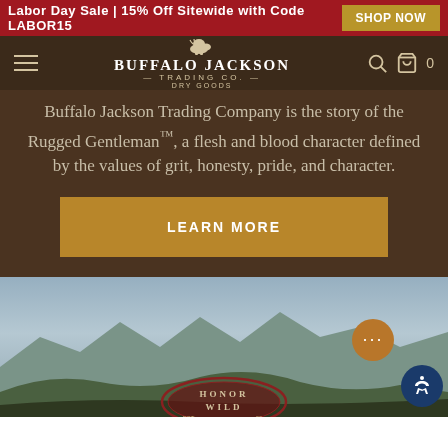Labor Day Sale | 15% Off Sitewide with Code LABOR15  SHOP NOW
[Figure (logo): Buffalo Jackson Trading Co. dry goods logo with bison icon, hamburger menu, search and cart icons in dark brown navigation bar]
Buffalo Jackson Trading Company is the story of the Rugged Gentleman™, a flesh and blood character defined by the values of grit, honesty, pride, and character.
LEARN MORE
[Figure (photo): Mountain landscape with overcast sky, green forested hills in foreground, with Honor Wild badge/emblem partially visible at bottom center]